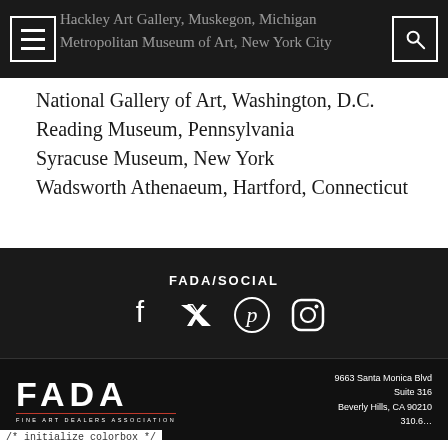Hackley Art Gallery, Muskegon, Michigan
Metropolitan Museum of Art, New York City
National Gallery of Art, Washington, D.C.
Reading Museum, Pennsylvania
Syracuse Museum, New York
Wadsworth Athenaeum, Hartford, Connecticut
FADA/SOCIAL
[Figure (infographic): Social media icons: Facebook, Twitter, Pinterest, Instagram]
[Figure (logo): FADA - Fine Art Dealers Association logo with red underline]
9663 Santa Monica Blvd
Suite 316
Beverly Hills, CA 90210
310.6...
/* initialize colorbox */